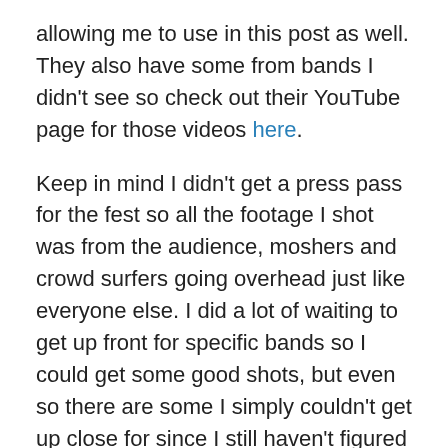allowing me to use in this post as well. They also have some from bands I didn't see so check out their YouTube page for those videos here.
Keep in mind I didn't get a press pass for the fest so all the footage I shot was from the audience, moshers and crowd surfers going overhead just like everyone else. I did a lot of waiting to get up front for specific bands so I could get some good shots, but even so there are some I simply couldn't get up close for since I still haven't figured out how to be in two places at once. Also, I was pretty much stationary so I had to shoot whoever was on the side of the stage I was most of the time. Some bands I took more time to shoot for whatever reason, usually because they are a personal favorite of mine, and for some bands I don't really love any of my shots of but hey when you shoot this many bands at once some are going to be much better